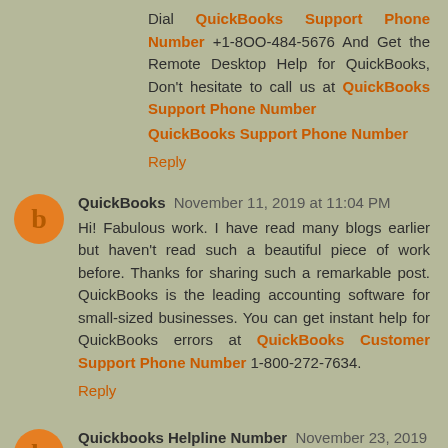Dial QuickBooks Support Phone Number +1-8OO-484-5676 And Get the Remote Desktop Help for QuickBooks, Don't hesitate to call us at QuickBooks Support Phone Number
QuickBooks Support Phone Number
Reply
QuickBooks November 11, 2019 at 11:04 PM
Hi! Fabulous work. I have read many blogs earlier but haven't read such a beautiful piece of work before. Thanks for sharing such a remarkable post. QuickBooks is the leading accounting software for small-sized businesses. You can get instant help for QuickBooks errors at QuickBooks Customer Support Phone Number 1-800-272-7634.
Reply
Quickbooks Helpline Number November 23, 2019 at 12:12 PM